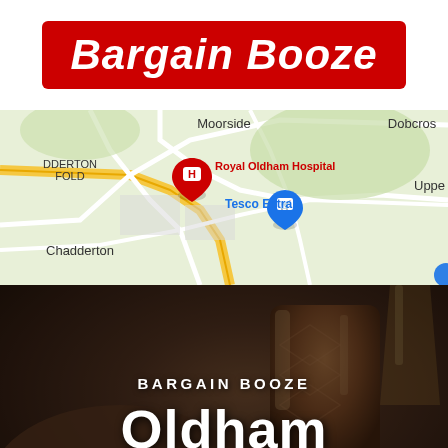[Figure (logo): Bargain Booze logo: white italic bold text on red rounded rectangle background]
[Figure (map): Google Maps screenshot showing Oldham area with markers for Royal Oldham Hospital (red H pin), Tesco Extra (blue shopping cart pin), and place labels: Moorside, Dobcross, Chadderton, Upper, DDERTON FOLD]
[Figure (photo): Dark photo of hands holding whisky glasses clinking, with overlay text 'BARGAIN BOOZE' subtitle and 'Oldham' as main title in white]
BARGAIN BOOZE
Oldham
LATEST DEALS